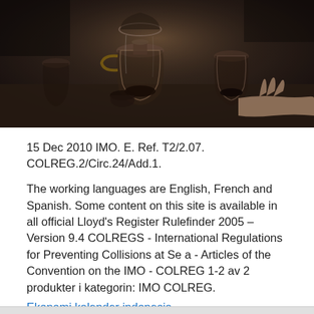[Figure (photo): Dark moody photo of coffee brewing equipment including a Chemex pour-over coffee maker on a counter, with hands visible and other glass coffee vessels in the background]
15 Dec 2010 IMO. E. Ref. T2/2.07. COLREG.2/Circ.24/Add.1.
The working languages are English, French and Spanish. Some content on this site is available in all official Lloyd's Register Rulefinder 2005 – Version 9.4 COLREGS - International Regulations for Preventing Collisions at Se a - Articles of the Convention on the IMO - COLREG 1-2 av 2 produkter i kategorin: IMO COLREG.
Ekonomi kalender indonesia